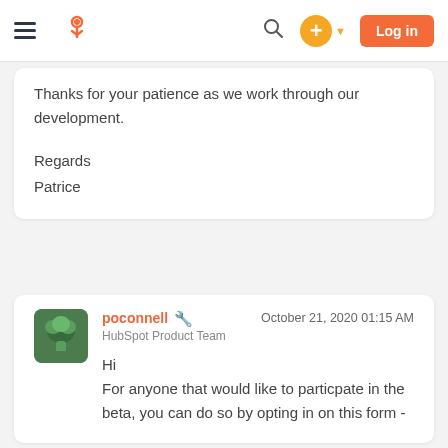HubSpot navigation bar with hamburger menu, logo, search, plus button, and Log in button
Thanks for your patience as we work through our development.

Regards
Patrice
poconnell  October 21, 2020 01:15 AM
HubSpot Product Team

Hi
For anyone that would like to particpate in the beta, you can do so by opting in on this form -